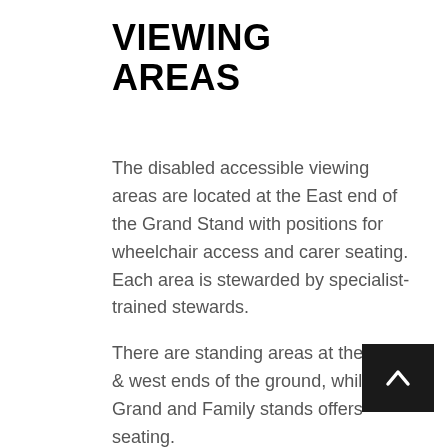VIEWING AREAS
The disabled accessible viewing areas are located at the East end of the Grand Stand with positions for wheelchair access and carer seating. Each area is stewarded by specialist-trained stewards.
There are standing areas at the east & west ends of the ground, while the Grand and Family stands offers seating.
Entrance to the clubhouse facilities for spectators, the